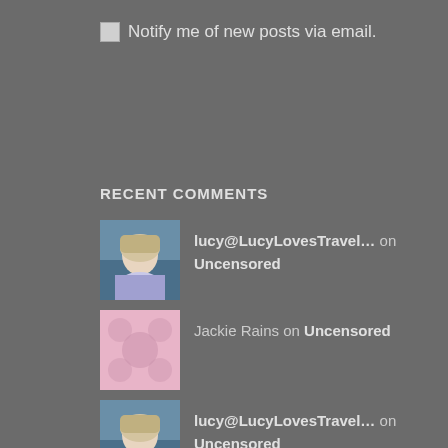Notify me of new posts via email.
RECENT COMMENTS
lucy@LucyLovesTravel… on Uncensored
Jackie Rains on Uncensored
lucy@LucyLovesTravel… on Uncensored
Shanna Saverance on Uncensored
lucy@LucyLovesTravel… on Uncensored